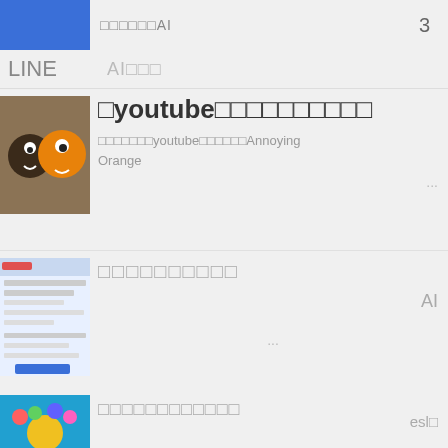[Figure (screenshot): Blue banner thumbnail for AI-related content]
□□□□□□AI
3
LINE
AI□□□
[Figure (photo): Cartoon fruits characters - Annoying Orange style thumbnails]
□youtube□□□□□□□□□□
□□□□□□□youtube□□□□□□Annoying Orange ...
[Figure (screenshot): Screenshot of a webpage/social media interface]
□□□□□□□□□□
AI
...
[Figure (illustration): Colorful educational illustration with space/planet theme and characters]
□□□□□□□□□□□□
esl□
voanews
...
[Figure (photo): Dark thumbnail partially visible at bottom]